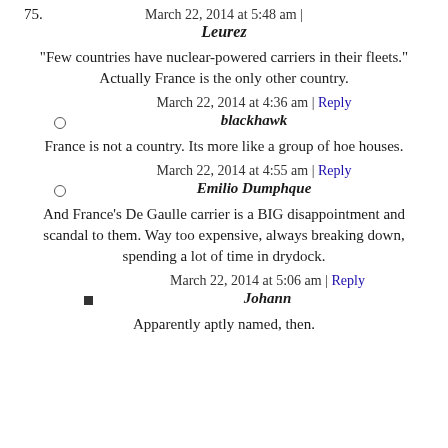March 22, 2014 at 5:48 am | Leurez (comment 75)
"Few countries have nuclear-powered carriers in their fleets." Actually France is the only other country.
March 22, 2014 at 4:36 am | Reply — blackhawk
France is not a country. Its more like a group of hoe houses.
March 22, 2014 at 4:55 am | Reply — Emilio Dumphque
And France's De Gaulle carrier is a BIG disappointment and scandal to them. Way too expensive, always breaking down, spending a lot of time in drydock.
March 22, 2014 at 5:06 am | Reply — Johann
Apparently aptly named, then.